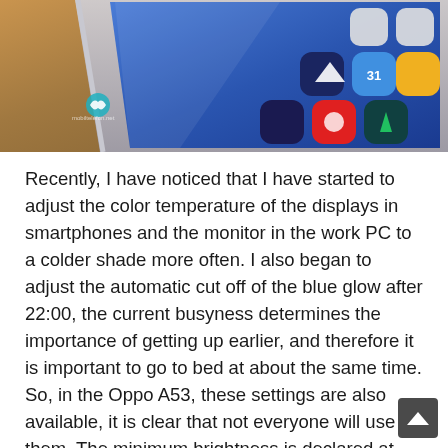[Figure (photo): Close-up photo of a smartphone (Oppo A53) showing the screen with app icons and a blue interface, photographed at an angle against a warm brown/amber background. A small logo/watermark is visible on the photo.]
Recently, I have noticed that I have started to adjust the color temperature of the displays in smartphones and the monitor in the work PC to a colder shade more often. I also began to adjust the automatic cut off of the blue glow after 22:00, the current busyness determines the importance of getting up earlier, and therefore it is important to go to bed at about the same time. So, in the Oppo A53, these settings are also available, it is clear that not everyone will use them. The minimum brightness is declared at 400 nits, it happened that I wa...